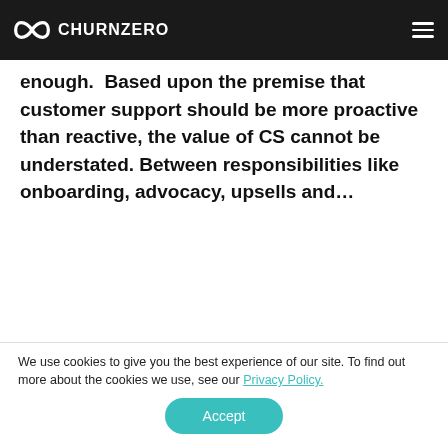CHURNZERO
enough.  Based upon the premise that customer support should be more proactive than reactive, the value of CS cannot be understated. Between responsibilities like onboarding, advocacy, upsells and…
[Figure (illustration): Partial view of a red/orange arc shape resembling the top of the ChurnZero logo or a cloud/infinity symbol, cropped at the bottom of the visible area.]
We use cookies to give you the best experience of our site. To find out more about the cookies we use, see our Privacy Policy.
Accept